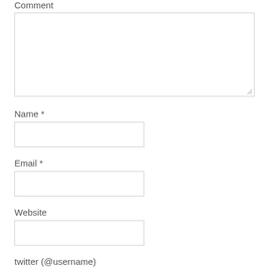Comment
Name *
Email *
Website
twitter (@username)